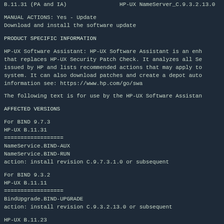B.11.31 (PA and IA)                HP-UX NameServer_C.9.3.2.13.0
MANUAL ACTIONS: Yes - Update
Download and install the software update
PRODUCT SPECIFIC INFORMATION
HP-UX Software Assistant: HP-UX Software Assistant is an enh that replaces HP-UX Security Patch Check. It analyzes all Se issued by HP and lists recommended actions that may apply to system. It can also download patches and create a depot auto information see: https://www.hp.com/go/swa
The following text is for use by the HP-UX Software Assistan
AFFECTED VERSIONS
For BIND 9.7.3
HP-UX B.11.31
==================
NameService.BIND-AUX
NameService.BIND-RUN
action: install revision C.9.7.3.1.0 or subsequent
For BIND 9.3.2
HP-UX B.11.11
==================
BindUpgrade.BIND-UPGRADE
action: install revision C.9.3.2.13.0 or subsequent
HP-UX B.11.23
==================
BindUpgrade.BIND-UPGRADE